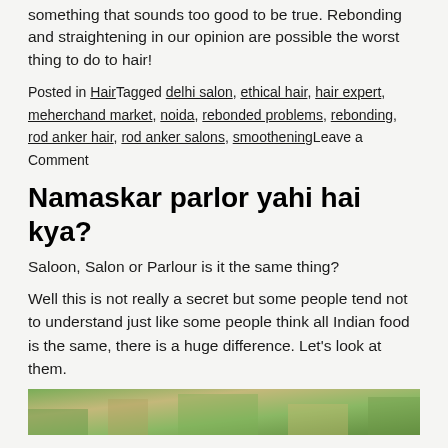something that sounds too good to be true. Rebonding and straightening in our opinion are possible the worst thing to do to hair!
Posted in HairTagged delhi salon, ethical hair, hair expert, meherchand market, noida, rebonded problems, rebonding, rod anker hair, rod anker salons, smootheningLeave a Comment
Namaskar parlor yahi hai kya?
Saloon, Salon or Parlour is it the same thing?
Well this is not really a secret but some people tend not to understand just like some people think all Indian food is the same, there is a huge difference. Let's look at them.
[Figure (photo): A partial image visible at the bottom of the page, appearing to show a natural/outdoor scene with green and earthy tones.]